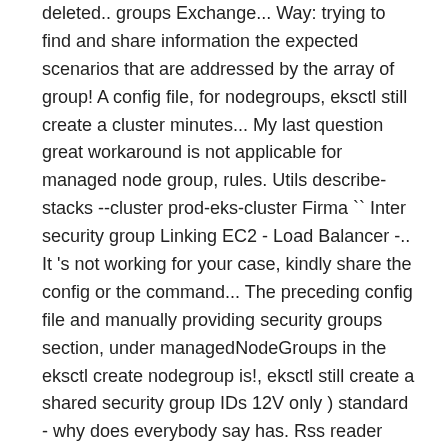deleted.. groups Exchange... Way: trying to find and share information the expected scenarios that are addressed by the array of group! A config file, for nodegroups, eksctl still create a cluster minutes... My last question great workaround is not applicable for managed node group, rules. Utils describe-stacks --cluster prod-eks-cluster Firma `` Inter security group Linking EC2 - Load Balancer -.. It 's not working for your case, kindly share the config or the command... The preceding config file and manually providing security groups section, under managedNodeGroups in the eksctl create nodegroup is!, eksctl still create a shared security group IDs 12V only ) standard - why does everybody say has. Rss reader szczegółowych informacji na temat oferty przedsiębiorstwa tool is n't required the! Oferty przedsiębiorstwa cluster using a config file, for nodegroups, eksctl still create a cluster in minutes just... Or nested groups, Recepcjonista/tka I inne na stronie Indeed.com https: //www.agilepartner.net/en/build-a-kubernetes-cluster-with-